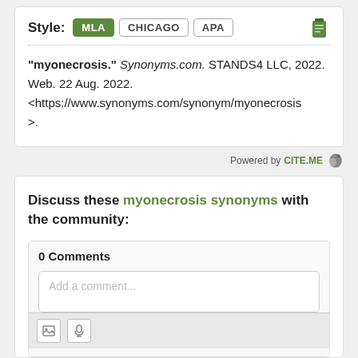Style: MLA CHICAGO APA
"myonecrosis." Synonyms.com. STANDS4 LLC, 2022. Web. 22 Aug. 2022. <https://www.synonyms.com/synonym/myonecrosis>.
Powered by CITE.ME
Discuss these myonecrosis synonyms with the community:
0 Comments
Add a comment...